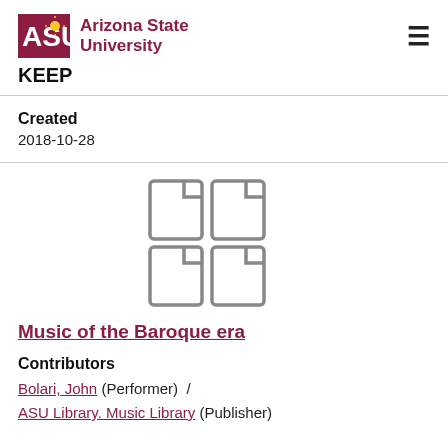ASU Arizona State University  KEEP
Created
2018-10-28
[Figure (illustration): Four document/file icons arranged in a 2x2 grid, grey outline style]
Music of the Baroque era
Contributors
Bolari, John (Performer)  /
ASU Library. Music Library (Publisher)